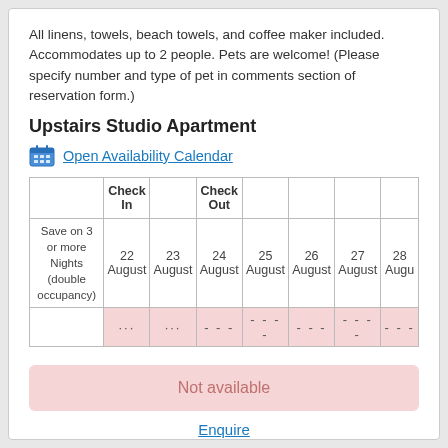All linens, towels, beach towels, and coffee maker included. Accommodates up to 2 people. Pets are welcome! (Please specify number and type of pet in comments section of reservation form.)
Upstairs Studio Apartment
Open Availability Calendar
|  | Check In |  | Check Out |  |  |  |  |
| --- | --- | --- | --- | --- | --- | --- | --- |
| Save on 3 or more Nights (double occupancy) | 22 August | 23 August | 24 August | 25 August | 26 August | 27 August | 28 Augu |
|  | ... | ... | - - - | - - - - | - - - | - - - - | - - - |
Not available
Enquire